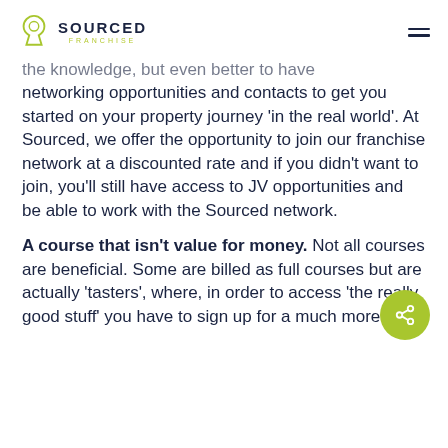SOURCED FRANCHISE
the knowledge, but even better to have networking opportunities and contacts to get you started on your property journey 'in the real world'. At Sourced, we offer the opportunity to join our franchise network at a discounted rate and if you didn't want to join, you'll still have access to JV opportunities and be able to work with the Sourced network.
A course that isn't value for money. Not all courses are beneficial. Some are billed as full courses but are actually 'tasters', where, in order to access 'the really good stuff' you have to sign up for a much more